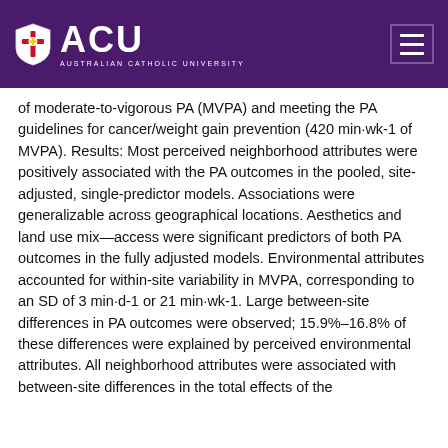ACU - Australian Catholic University
of moderate-to-vigorous PA (MVPA) and meeting the PA guidelines for cancer/weight gain prevention (420 min·wk-1 of MVPA). Results: Most perceived neighborhood attributes were positively associated with the PA outcomes in the pooled, site-adjusted, single-predictor models. Associations were generalizable across geographical locations. Aesthetics and land use mix—access were significant predictors of both PA outcomes in the fully adjusted models. Environmental attributes accounted for within-site variability in MVPA, corresponding to an SD of 3 min·d-1 or 21 min·wk-1. Large between-site differences in PA outcomes were observed; 15.9%–16.8% of these differences were explained by perceived environmental attributes. All neighborhood attributes were associated with between-site differences in the total effects of the